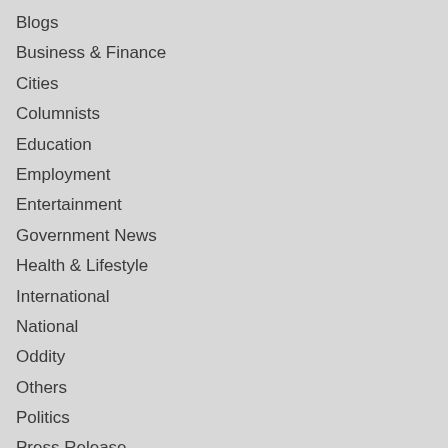Blogs
Business & Finance
Cities
Columnists
Education
Employment
Entertainment
Government News
Health & Lifestyle
International
National
Oddity
Others
Politics
Press Release
Real Estate & Construction
Social Network
Sponsored